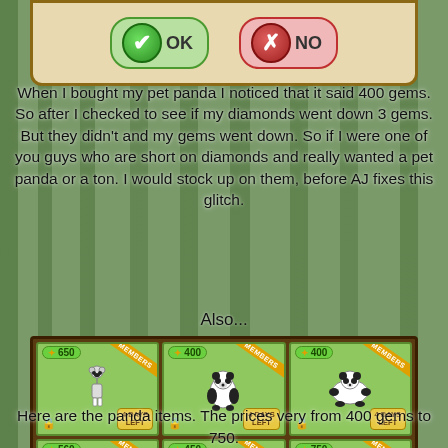[Figure (screenshot): Game UI dialog with OK (green checkmark) and NO (red X) buttons on a tan/cream background with brown border]
When I bought my pet panda I noticed that it said 400 gems. So after I checked to see if my diamonds went down 3 gems. But they didn't and my gems went down. So if I were one of you guys who are short on diamonds and really wanted a pet panda or a ton. I would stock up on them, before AJ fixes this glitch.
Also...
[Figure (screenshot): Game shop grid showing 6 panda-themed items with prices: 650, 400, 400 (top row) and 560, 450, 750 (bottom row) gems, each showing '4 DAYS LEFT' and Members banners]
Here are the panda items. The prices very from 400 gems to 750.